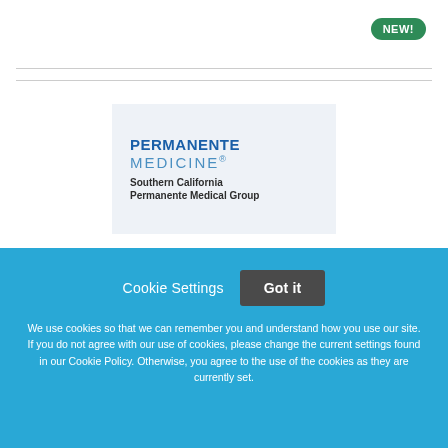[Figure (logo): NEW! badge - green rounded pill button with white bold text]
[Figure (logo): Permanente Medicine logo with Southern California Permanente Medical Group subtitle on light blue background]
Cookie Settings
Got it
We use cookies so that we can remember you and understand how you use our site. If you do not agree with our use of cookies, please change the current settings found in our Cookie Policy. Otherwise, you agree to the use of the cookies as they are currently set.